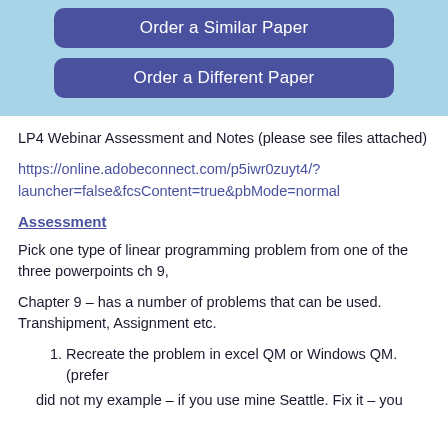[Figure (other): Blue banner with two buttons: 'Order a Similar Paper' and 'Order a Different Paper']
LP4 Webinar Assessment and Notes (please see files attached)
https://online.adobeconnect.com/p5iwr0zuyt4/?launcher=false&fcsContent=true&pbMode=normal
Assessment
Pick one type of linear programming problem from one of the three powerpoints ch 9,
Chapter 9 – has a number of problems that can be used. Transhipment, Assignment etc.
Recreate the problem in excel QM or Windows QM. (prefer
did not my example – if you use mine Seattle. Fix it – you